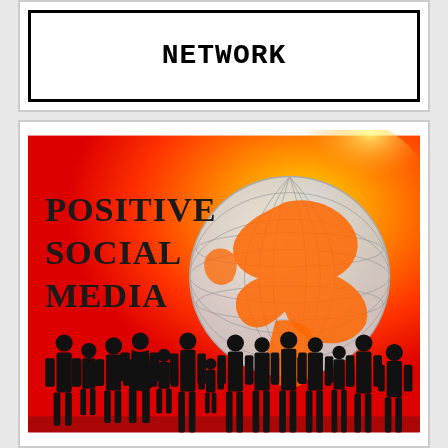NETWORK
[Figure (illustration): Positive Social Media illustration: orange and red gradient background with a globe/Earth graphic (white with orange continents), text 'POSITIVE SOCIAL MEDIA' in bold black serif font on the left, and silhouettes of children/people standing in a row across the bottom foreground.]